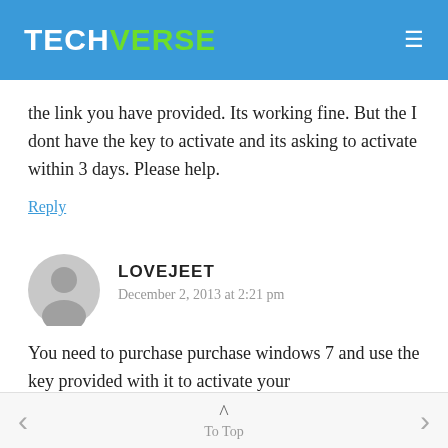TECHVERSE
the link you have provided. Its working fine. But the I dont have the key to activate and its asking to activate within 3 days. Please help.
Reply
LOVEJEET
December 2, 2013 at 2:21 pm
You need to purchase purchase windows 7 and use the key provided with it to activate your